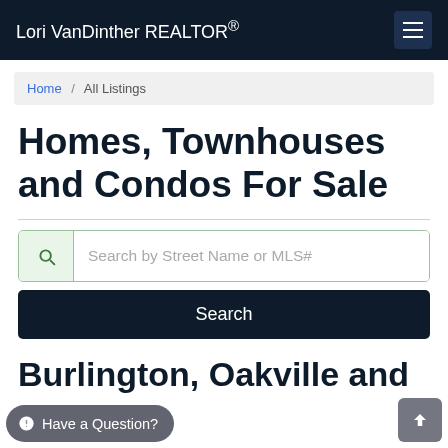Lori VanDinther REALTOR®
Home / All Listings
Homes, Townhouses and Condos For Sale
Search by Street Name or MLS#
Search
Burlington, Oakville and